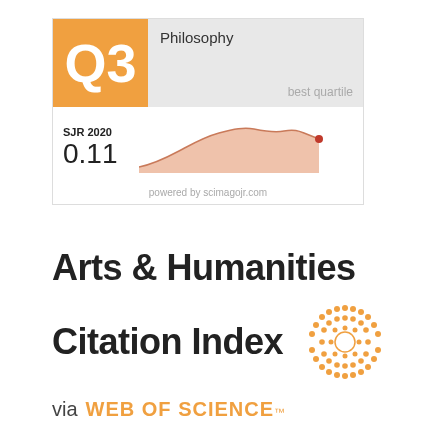[Figure (infographic): SJR Scimago Journal Rank widget showing Q3 quartile in Philosophy, SJR 2020 value of 0.11, with a filled area chart showing trend over time, and 'powered by scimagojr.com' text.]
Arts & Humanities Citation Index
via WEB OF SCIENCE™
[Figure (logo): Web of Science sunburst/dot-circle logo in orange]